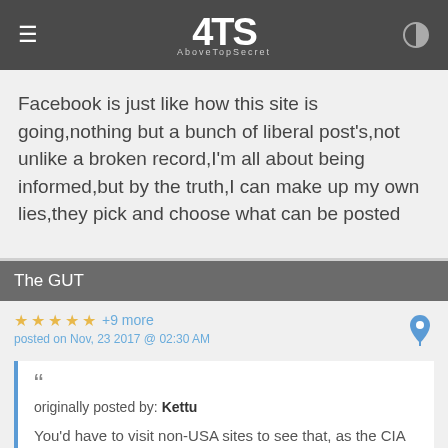ATS AboveTopSecret
Facebook is just like how this site is going,nothing but a bunch of liberal post's,not unlike a broken record,I'm all about being informed,but by the truth,I can make up my own lies,they pick and choose what can be posted
The GUT
★ ★ ★ ★ ★ +9 more
posted on Nov, 23 2017 @ 02:30 AM
originally posted by: Kettu

You'd have to visit non-USA sites to see that, as the CIA doesn't operate domestically.